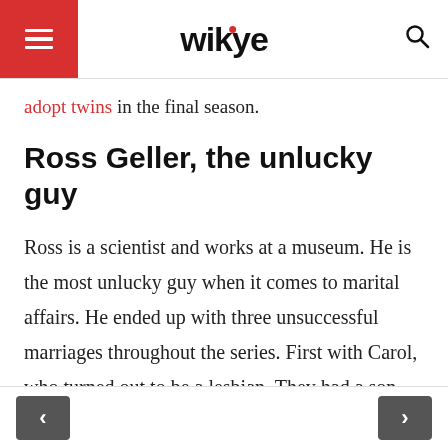wikye
adopt twins in the final season.
Ross Geller, the unlucky guy
Ross is a scientist and works at a museum. He is the most unlucky guy when it comes to marital affairs. He ended up with three unsuccessful marriages throughout the series. First with Carol, who turned out to be a lesbian. They had a son together, Ben